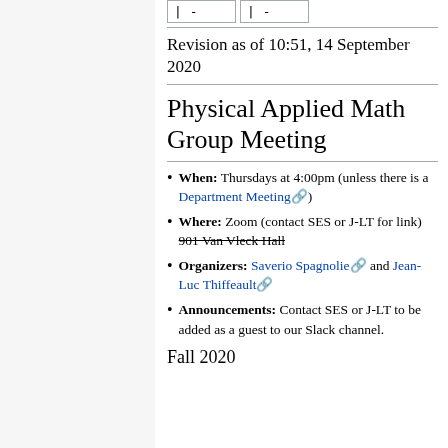|  | - |  | - |
Revision as of 10:51, 14 September 2020
Physical Applied Math Group Meeting
When: Thursdays at 4:00pm (unless there is a Department Meeting)
Where: Zoom (contact SES or J-LT for link) 901 Van Vleck Hall
Organizers: Saverio Spagnolie and Jean-Luc Thiffeault
Announcements: Contact SES or J-LT to be added as a guest to our Slack channel.
Fall 2020